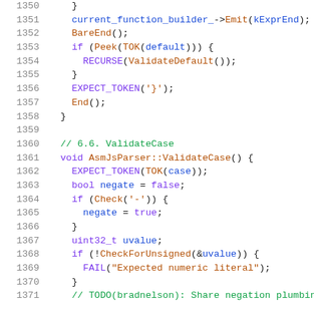[Figure (screenshot): Source code listing showing lines 1350-1371 of a C++ parser file (AsmJsParser), with syntax highlighting. Lines show ValidateCase method implementation including function calls, control flow, and token handling.]